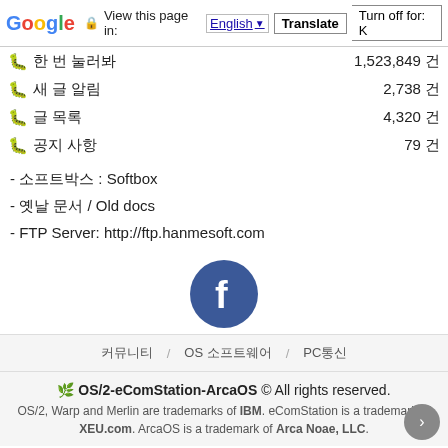Google | View this page in: English | Translate | Turn off for: K
🐛 [Korean text] 1,523,849 건
🐛 [Korean text] 2,738 건
🐛 [Korean text] 4,320 건
🐛 [Korean text] 79 건
- 소프트박스 : Softbox
- 옛날 문서 / Old docs
- FTP Server: http://ftp.hanmesoft.com
[Figure (logo): Facebook logo icon, circular dark blue with white letter f]
커뮤니티 / OS 소프트웨어 / PC통신
🌿 OS/2-eComStation-ArcaOS © All rights reserved. OS/2, Warp and Merlin are trademarks of IBM. eComStation is a trademark of XEU.com. ArcaOS is a trademark of Arca Noae, LLC.